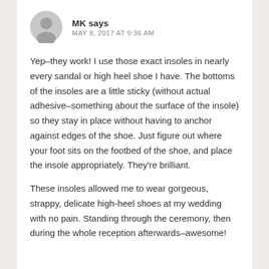MK says — MAY 8, 2017 AT 9:36 AM
Yep–they work! I use those exact insoles in nearly every sandal or high heel shoe I have. The bottoms of the insoles are a little sticky (without actual adhesive–something about the surface of the insole) so they stay in place without having to anchor against edges of the shoe. Just figure out where your foot sits on the footbed of the shoe, and place the insole appropriately. They're brilliant.
These insoles allowed me to wear gorgeous, strappy, delicate high-heel shoes at my wedding with no pain. Standing through the ceremony, then during the whole reception afterwards–awesome!